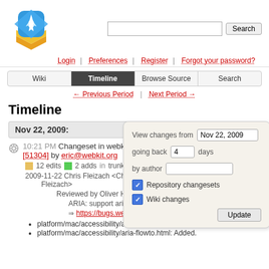[Figure (logo): WebKit/Instruments-style logo: blue diamond with rocket, yellow and orange layered shapes]
Login | Preferences | Register | Forgot your password?
Wiki | Timeline | Browse Source | Search (navigation tabs)
← Previous Period | Next Period →
Timeline
Nov 22, 2009:
10:21 PM Changeset in webkit [51304] by eric@webkit.org
12 edits  2 adds  in trunk
2009-11-22 Chris Fleizach <Chris Fleizach>
Reviewed by Oliver Hunt.
ARIA: support aria-flowto
https://bugs.webkit.org/show_bug.cgi?id=31762
platform/mac/accessibility/aria-flowto-expected.txt: Added.
platform/mac/accessibility/aria-flowto.html: Added.
[Figure (screenshot): Filter panel: View changes from Nov 22, 2009, going back 4 days, by author, Repository changesets checked, Wiki changes checked, Update button]